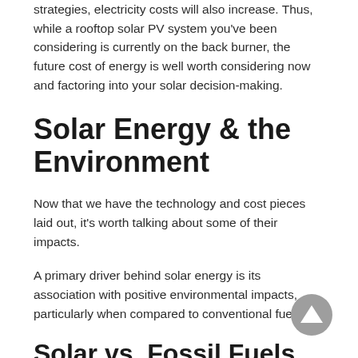strategies, electricity costs will also increase. Thus, while a rooftop solar PV system you've been considering is currently on the back burner, the future cost of energy is well worth considering now and factoring into your solar decision-making.
Solar Energy & the Environment
Now that we have the technology and cost pieces laid out, it's worth talking about some of their impacts.
A primary driver behind solar energy is its association with positive environmental impacts, particularly when compared to conventional fuels.
Solar vs. Fossil Fuels
When comparing solar energy to conventional fossil fuel